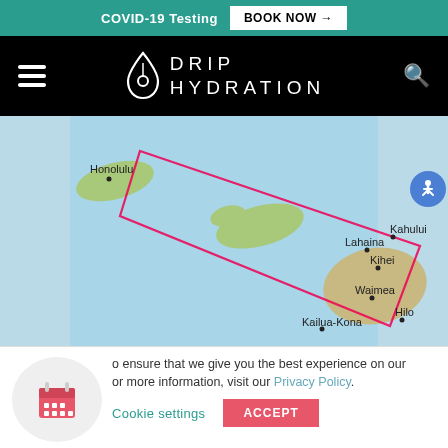COVID-19 Testing  BOOK NOW →
[Figure (logo): Drip Hydration logo with water drop icon and text DRIP HYDRATION on black navigation bar]
[Figure (map): Map of Hawaiian Islands showing Honolulu, Lahaina, Kahului, Kihei, Waimea, Kailua-Kona, and Hilo with a red service area boundary polygon]
o ensure that we give you the best experience on our or more information, visit our Privacy Policy.
Cookie settings   ACCEPT